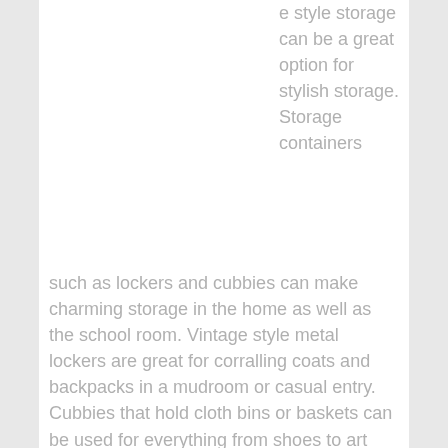e style storage can be a great option for stylish storage. Storage containers such as lockers and cubbies can make charming storage in the home as well as the school room. Vintage style metal lockers are great for corralling coats and backpacks in a mudroom or casual entry. Cubbies that hold cloth bins or baskets can be used for everything from shoes to art supplies, and recycling to toys.